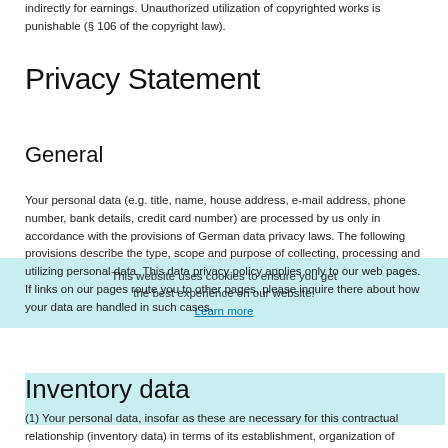indirectly for earnings. Unauthorized utilization of copyrighted works is punishable (§ 106 of the copyright law).
Privacy Statement
General
Your personal data (e.g. title, name, house address, e-mail address, phone number, bank details, credit card number) are processed by us only in accordance with the provisions of German data privacy laws. The following provisions describe the type, scope and purpose of collecting, processing and utilizing personal data. This data privacy policy applies only to our web pages. If links on our pages route you to other pages, please inquire there about how your data are handled in such cases.
Inventory data
(1) Your personal data, insofar as these are necessary for this contractual relationship (inventory data) in terms of its establishment, organization of content and modifications, are used exclusively for